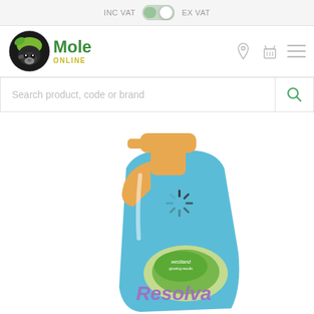INC VAT  EX VAT
[Figure (logo): Mole Online logo with mole illustration in circular badge and green/yellow text]
Search product, code or brand
[Figure (photo): Westland Resolva spray bottle (blue trigger spray) partially shown, cropped at bottom of page]